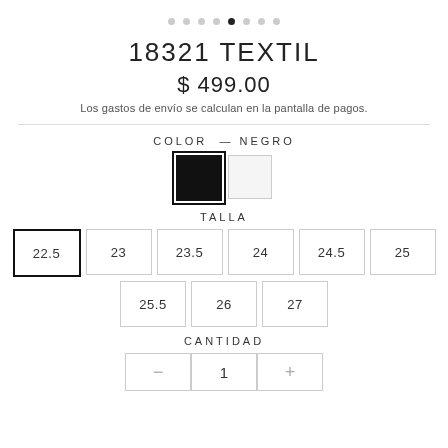[Figure (other): Pagination dots row with 8 dots, 5th dot filled/active]
18321 TEXTIL
$ 499.00
Los gastos de envío se calculan en la pantalla de pagos.
COLOR — NEGRO
[Figure (other): Two color swatches: black (selected with border) and white/light swatch]
TALLA
22.5 | 23 | 23.5 | 24 | 24.5 | 25 | 25.5 | 26 | 27 (size selector boxes, 22.5 selected)
CANTIDAD